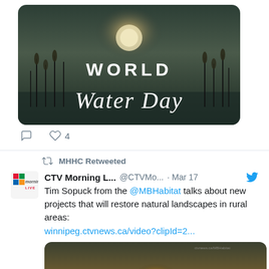[Figure (photo): World Water Day image with sunset/wetland background and text 'WORLD Water Day' in white]
♡ 4
MHHC Retweeted
[Figure (logo): CTV Morning Live logo]
CTV Morning L... @CTVMo... · Mar 17
Tim Sopuck from the @MBHabitat talks about new projects that will restore natural landscapes in rural areas:
winnipeg.ctvnews.ca/video?clipId=2...
[Figure (photo): Video thumbnail showing sunset over wetland/field landscape]